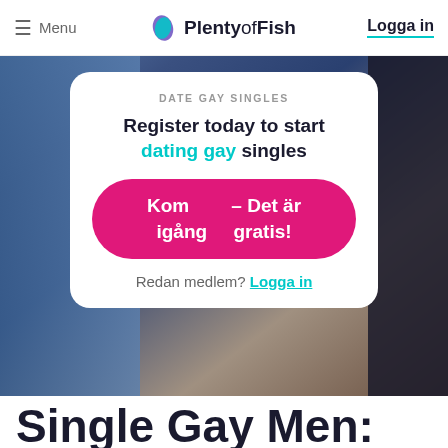Menu | PlentyofFish | Logga in
[Figure (screenshot): Plenty of Fish dating website screenshot showing hero section with a man in a denim shirt in the background, a white card overlay with registration prompt in Swedish and English, a pink CTA button, and login link.]
DATE GAY SINGLES
Register today to start dating gay singles
Kom igång – Det är gratis!
Redan medlem? Logga in
Single Gay Men: Join Now